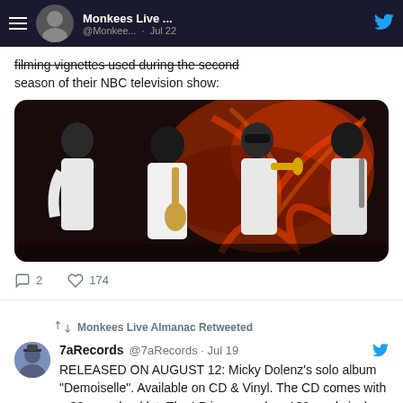Monkees Live ... @Monkee... · Jul 22
The Monkees photographed in 1967 while filming vignettes used during the second season of their NBC television show:
[Figure (photo): Black and white photo of The Monkees playing instruments in white clothes against a swirling dark background]
2  174
Monkees Live Almanac Retweeted
7aRecords @7aRecords · Jul 19
RELEASED ON AUGUST 12: Micky Dolenz's solo album "Demoiselle". Available on CD & Vinyl. The CD comes with a 32 page booklet. The LP is pressed on 180g red vinyl. Order a